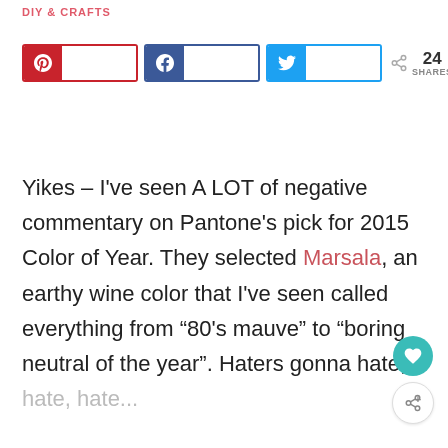DIY & CRAFTS
[Figure (infographic): Social share buttons: Pinterest (red), Facebook (blue), Twitter (cyan/light blue), share icon with count 24 SHARES]
Yikes – I've seen A LOT of negative commentary on Pantone's pick for 2015 Color of Year. They selected Marsala, an earthy wine color that I've seen called everything from ‘80's mauve” to “boring neutral of the year”. Haters gonna hate, hate, hate...